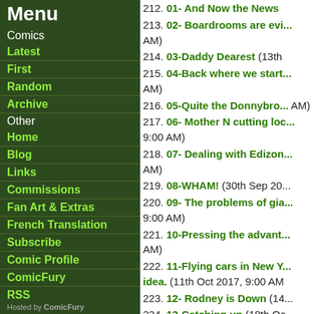Menu
Comics
Latest
First
Random
Archive
Other
Home
Blog
Links
Commissions
Fan Art & Extras
French Translation
Subscribe
Comic Profile
ComicFury
RSS
Hosted by ComicFury
212. 01- And Now the News
213. 02- Boardrooms are evi... AM)
214. 03-Daddy Dearest (13th
215. 04-Back where we start... AM)
216. 05-Quite the Donnybro... AM)
217. 06- Mother N cutting loc... 9:00 AM)
218. 07- Dealing with Edizon... AM)
219. 08-WHAM! (30th Sep 20...
220. 09- The problems of gia... 9:00 AM)
221. 10-Pressing the advant... AM)
222. 11-Flying cars in New Y... idea. (11th Oct 2017, 9:00 AM
223. 12- Rodney is Down (14...
224. 13-Catching up (18th Oc...
225. 14-Maryolo (21st Oct 20...